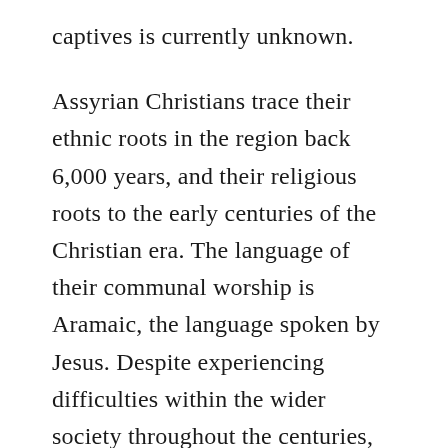captives is currently unknown.
Assyrian Christians trace their ethnic roots in the region back 6,000 years, and their religious roots to the early centuries of the Christian era. The language of their communal worship is Aramaic, the language spoken by Jesus. Despite experiencing difficulties within the wider society throughout the centuries, the Assyrian community has maintained a vital presence in the region for all this time; like other Christians in the region, they have emigrated in large